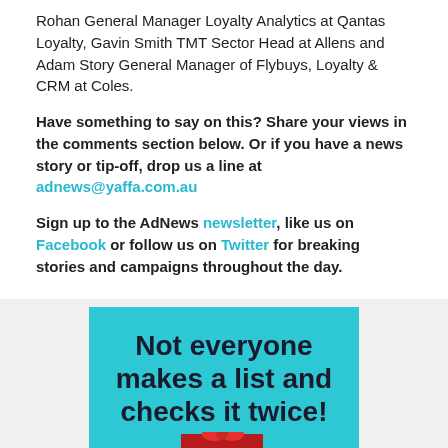Rohan General Manager Loyalty Analytics at Qantas Loyalty, Gavin Smith TMT Sector Head at Allens and Adam Story General Manager of Flybuys, Loyalty & CRM at Coles.
Have something to say on this? Share your views in the comments section below. Or if you have a news story or tip-off, drop us a line at adnews@yaffa.com.au
Sign up to the AdNews newsletter, like us on Facebook or follow us on Twitter for breaking stories and campaigns throughout the day.
[Figure (illustration): Advertisement banner with teal background showing the text 'Not everyone makes a list and checks it twice!' in bold dark font, with illustrated gift boxes at the bottom including a red gift with snowflake pattern, a dark purple gift, and a dark gift on the right.]